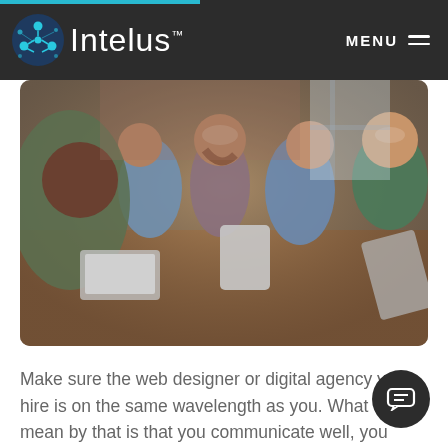Intelus — MENU
[Figure (photo): Group of young professionals sitting around a table laughing and working together with laptops and tablets.]
Make sure the web designer or digital agency you hire is on the same wavelength as you. What we mean by that is that you communicate well, you have a similar mindset, and you both have the same idea of the and objectives of the project. A good web designer or